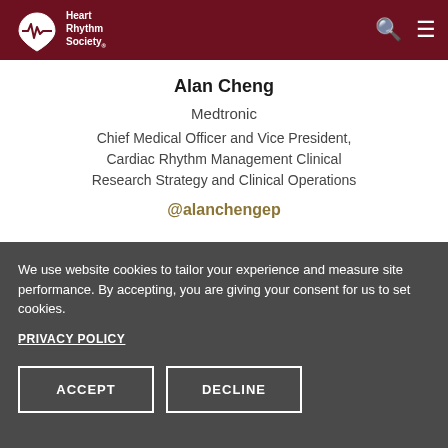Heart Rhythm Society
Alan Cheng
Medtronic
Chief Medical Officer and Vice President, Cardiac Rhythm Management Clinical Research Strategy and Clinical Operations
@alanchengep
We use website cookies to tailor your experience and measure site performance. By accepting, you are giving your consent for us to set cookies.
PRIVACY POLICY
ACCEPT
DECLINE